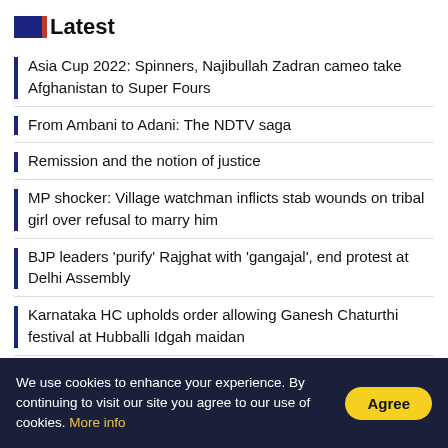Latest
Asia Cup 2022: Spinners, Najibullah Zadran cameo take Afghanistan to Super Fours
From Ambani to Adani: The NDTV saga
Remission and the notion of justice
MP shocker: Village watchman inflicts stab wounds on tribal girl over refusal to marry him
BJP leaders 'purify' Rajghat with 'gangajal', end protest at Delhi Assembly
Karnataka HC upholds order allowing Ganesh Chaturthi festival at Hubballi Idgah maidan
Trending
We use cookies to enhance your experience. By continuing to visit our site you agree to our use of cookies. More info